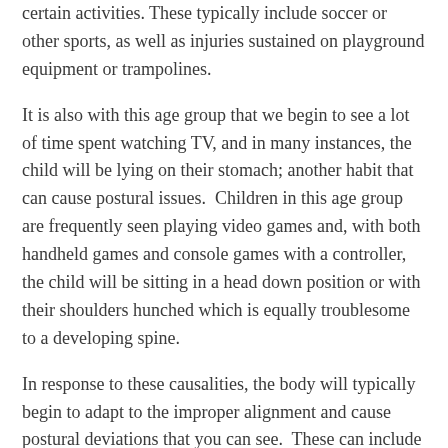certain activities. These typically include soccer or other sports, as well as injuries sustained on playground equipment or trampolines.
It is also with this age group that we begin to see a lot of time spent watching TV, and in many instances, the child will be lying on their stomach; another habit that can cause postural issues. Children in this age group are frequently seen playing video games and, with both handheld games and console games with a controller, the child will be sitting in a head down position or with their shoulders hunched which is equally troublesome to a developing spine.
In response to these causalities, the body will typically begin to adapt to the improper alignment and cause postural deviations that you can see. These can include a tilting of the head which may reflect a misalignment in the neck. A shoulder tilt